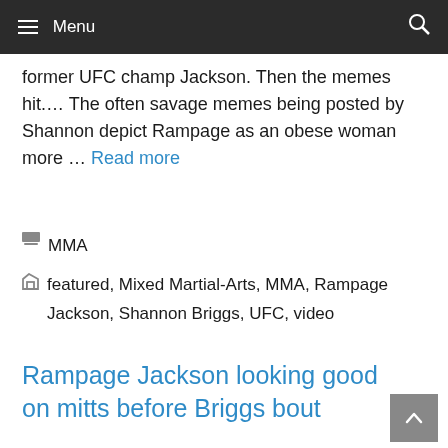Menu
former UFC champ Jackson. Then the memes hit.… The often savage memes being posted by Shannon depict Rampage as an obese woman more … Read more
MMA
featured, Mixed Martial-Arts, MMA, Rampage Jackson, Shannon Briggs, UFC, video
Rampage Jackson looking good on mitts before Briggs bout
January 13, 2022 by Sean McClure